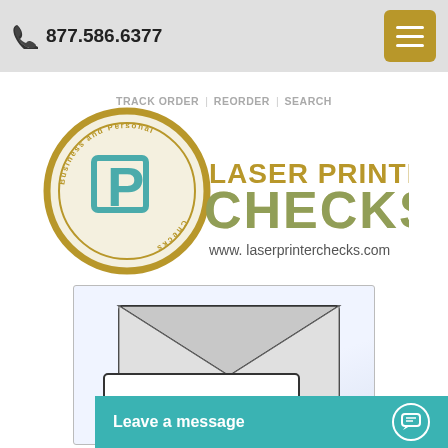877.586.6377
TRACK ORDER  REORDER  SEARCH
[Figure (logo): Laser Printer Checks logo with circular emblem reading Business and Personal Checks, teal and gold P letter mark, text LASER PRINTER CHECKS in gold and teal, www.laserprintercheks.com]
[Figure (illustration): Illustration of an open envelope with a check/card in front of it on a light blue-white background]
Leave a message